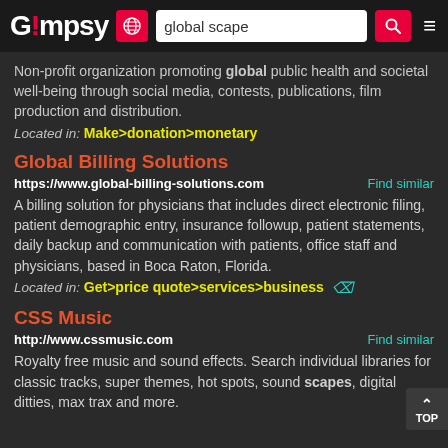Gimpsy — global scape
Non-profit organization promoting global public health and societal well-being through social media, contests, publications, film production and distribution.
Located in: Make>donation>monetary
Global Billing Solutions
https://www.global-billing-solutions.com   Find similar
A billing solution for physicians that includes direct electronic filing, patient demographic entry, insurance followup, patient statements, daily backup and communication with patients, office staff and physicians, based in Boca Raton, Florida.
Located in: Get>price quote>services>business
CSS Music
http://www.cssmusic.com   Find similar
Royalty free music and sound effects. Search individual libraries for classic tracks, super themes, hot spots, sound scapes, digital ditties, max trax and more.